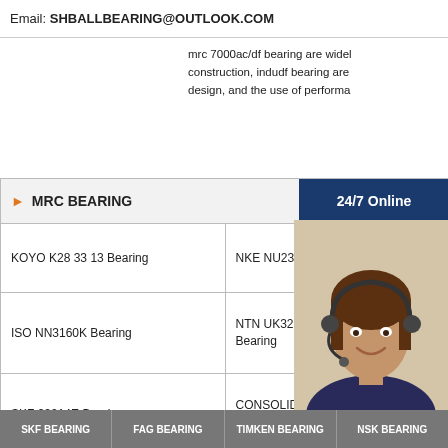Email: SHBALLBEARING@OUTLOOK.COM
mrc 7000ac/df bearing are widely construction, indudf bearing are design, and the use of performa
MRC BEARING
|  |  |
| --- | --- |
| KOYO K28 33 13 Bearing | NKE NU2326 E M6 Be |
| ISO NN3160K Bearing | NTN UK328D1 H2328 Bearing |
| SKF 22214E Bearing | CONSOLIDATED FR 1 ZZ Bearing |
| NTN K12 18 12 Bearing | NSK MFJT-2014 Beari |
[Figure (photo): Customer service representative wearing headset, smiling]
Have any requests, click here.
Quotation
SKF BEARING   FAG BEARING   TIMKEN BEARING   NSK BEARING